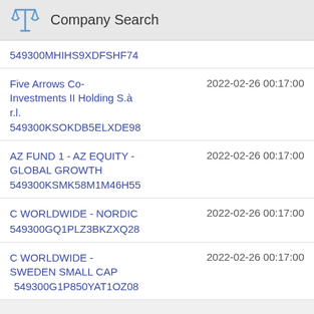Company Search
549300MHIHS9XDFSHF74
Five Arrows Co-Investments II Holding S.à r.l.
549300KSOKDB5ELXDE98
2022-02-26 00:17:00
AZ FUND 1 - AZ EQUITY - GLOBAL GROWTH
549300KSMK58M1M46H55
2022-02-26 00:17:00
C WORLDWIDE - NORDIC
549300GQ1PLZ3BKZXQ28
2022-02-26 00:17:00
C WORLDWIDE - SWEDEN SMALL CAP
549300G1P850YAT1OZ08
2022-02-26 00:17:00